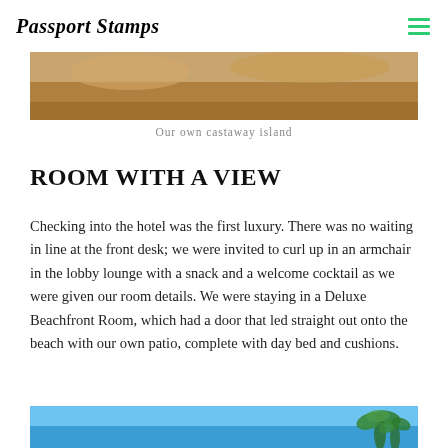Passport Stamps
[Figure (photo): Top portion of a photo showing a sandy/earthy landscape, partially cropped at top]
Our own castaway island
ROOM WITH A VIEW
Checking into the hotel was the first luxury. There was no waiting in line at the front desk; we were invited to curl up in an armchair in the lobby lounge with a snack and a welcome cocktail as we were given our room details. We were staying in a Deluxe Beachfront Room, which had a door that led straight out onto the beach with our own patio, complete with day bed and cushions.
[Figure (photo): Bottom portion of a photo showing blue sky and palm trees, partially cropped at bottom of page]